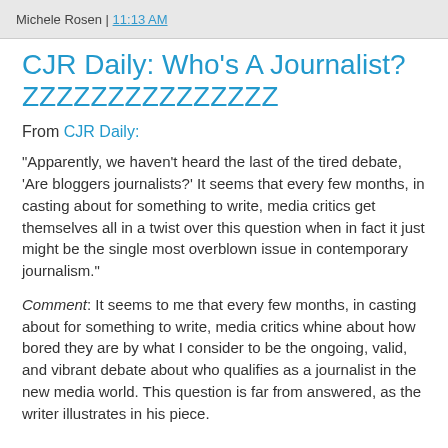Michele Rosen | 11:13 AM
CJR Daily: Who's A Journalist? ZZZZZZZZZZZZZZZ
From CJR Daily:
"Apparently, we haven't heard the last of the tired debate, 'Are bloggers journalists?' It seems that every few months, in casting about for something to write, media critics get themselves all in a twist over this question when in fact it just might be the single most overblown issue in contemporary journalism."
Comment: It seems to me that every few months, in casting about for something to write, media critics whine about how bored they are by what I consider to be the ongoing, valid, and vibrant debate about who qualifies as a journalist in the new media world. This question is far from answered, as the writer illustrates in his piece.